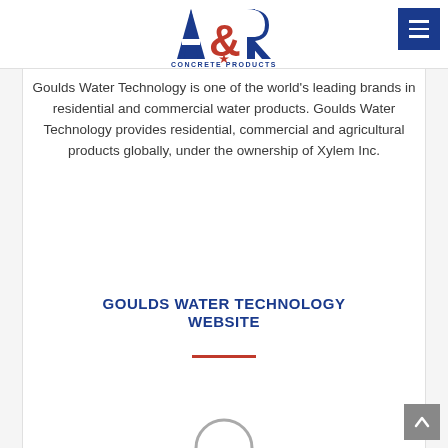[Figure (logo): A&R Concrete Products logo with large red, white and blue stylized letters A, &, R above the text CONCRETE PRODUCTS with a star]
[Figure (other): Blue square hamburger menu button with three horizontal white lines in top-right corner]
Goulds Water Technology is one of the world's leading brands in residential and commercial water products. Goulds Water Technology provides residential, commercial and agricultural products globally, under the ownership of Xylem Inc.
GOULDS WATER TECHNOLOGY WEBSITE
[Figure (other): Orange/red horizontal decorative line divider]
[Figure (other): Partial gray circle visible at bottom center of page]
[Figure (other): Gray scroll-to-top button with upward arrow in bottom-right corner]